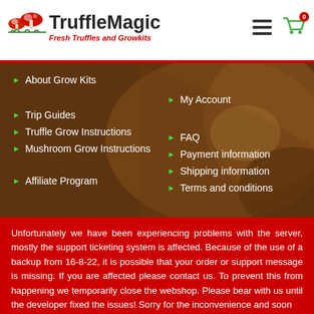TruffleMagic - Fresh Truffles and Growkits
About Grow Kits
My Account
Trip Guides
FAQ
Truffle Grow Instructions
Payment information
Mushroom Grow Instructions
Shipping information
Terms and conditions
Affiliate Program
Unfortunately we have been experiencing problems with the server, mostly the support ticketing system is affected. Because of the use of a backup from 16-8-22, it is possible that your order or support message is missing. If you are affected please contact us. To prevent this from happening we temporarily close the webshop. Please bear with us until the developer fixed the issues! Sorry for the inconvenience and soon .......HAPPY TRIPPING!